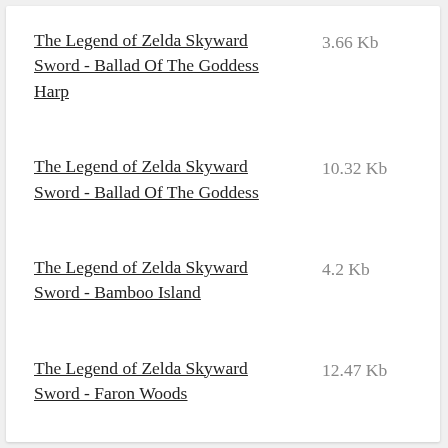The Legend of Zelda Skyward Sword - Ballad Of The Goddess Harp
The Legend of Zelda Skyward Sword - Ballad Of The Goddess
The Legend of Zelda Skyward Sword - Bamboo Island
The Legend of Zelda Skyward Sword - Faron Woods